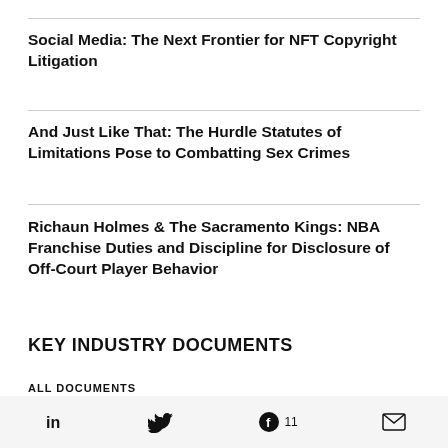Social Media: The Next Frontier for NFT Copyright Litigation
And Just Like That: The Hurdle Statutes of Limitations Pose to Combatting Sex Crimes
Richaun Holmes & The Sacramento Kings: NBA Franchise Duties and Discipline for Disclosure of Off-Court Player Behavior
KEY INDUSTRY DOCUMENTS
ALL DOCUMENTS
LinkedIn Twitter Facebook 11 Email